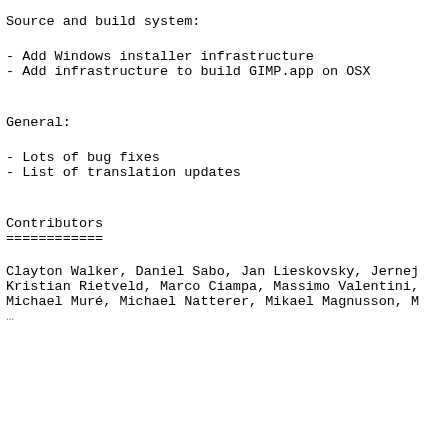Source and build system:
- Add Windows installer infrastructure
- Add infrastructure to build GIMP.app on OSX
General:
- Lots of bug fixes
- List of translation updates
Contributors
============
Clayton Walker, Daniel Sabo, Jan Lieskovsky, Jernej
Kristian Rietveld, Marco Ciampa, Massimo Valentini,
Michael Muré, Michael Natterer, Mikael Magnusson, M
(further contributors cut off)